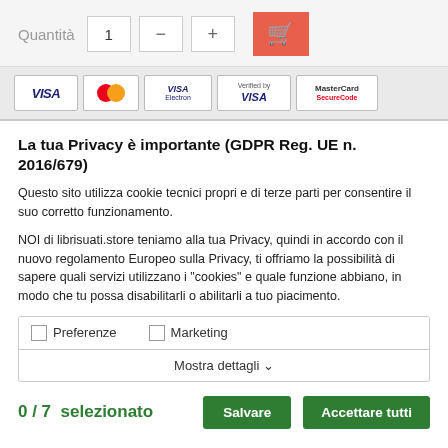Quantità  1  −  +
[Figure (screenshot): Payment method logos: VISA, MasterCard, VISA Electron, Verified by VISA, MasterCard SecureCode]
La tua Privacy è importante (GDPR Reg. UE n. 2016/679)
Questo sito utilizza cookie tecnici propri e di terze parti per consentire il suo corretto funzionamento.
NOI di librisuati.store teniamo alla tua Privacy, quindi in accordo con il nuovo regolamento Europeo sulla Privacy, ti offriamo la possibilità di sapere quali servizi utilizzano i "cookies" e quale funzione abbiano, in modo che tu possa disabilitarli o abilitarli a tuo piacimento.
Preferenze   Marketing
Mostra dettagli ∨
0 / 7  selezionato   Salvare   Accettare tutti